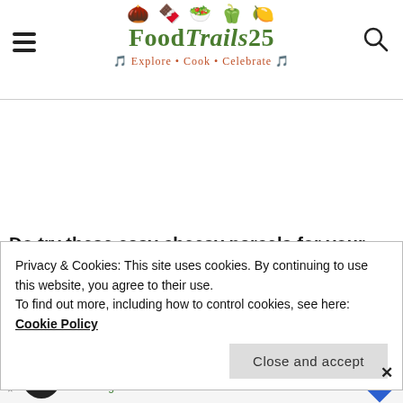[Figure (logo): FoodTrails25 logo with food icons (acorn, chocolate, bowl, pepper, lemon) above the name, tagline 'Explore • Cook • Celebrate' below]
Do try these easy cheesy parcels for your loved
Privacy & Cookies: This site uses cookies. By continuing to use this website, you agree to their use.
To find out more, including how to control cookies, see here:
Cookie Policy
Close and accept
perfectly well with milkshakes(Nutella and Banana
Back To School Shopping Deals
Leesburg Premium Outlets